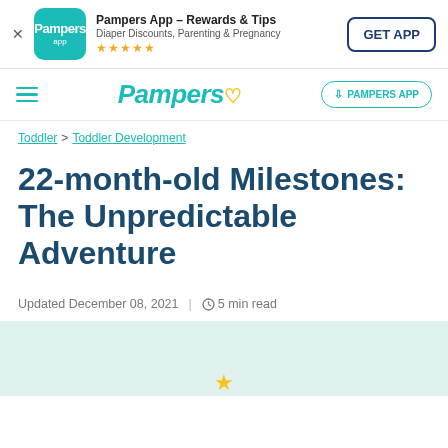[Figure (screenshot): Pampers App banner with app icon, title, subtitle, star rating and GET APP button]
[Figure (screenshot): Pampers website navigation bar with hamburger menu, Pampers logo, and PAMPERS APP download button]
Toddler > Toddler Development
22-month-old Milestones: The Unpredictable Adventure
Updated December 08, 2021  |  5 min read
[Figure (illustration): Light teal background section at the bottom of the page with partial yellow star hint]